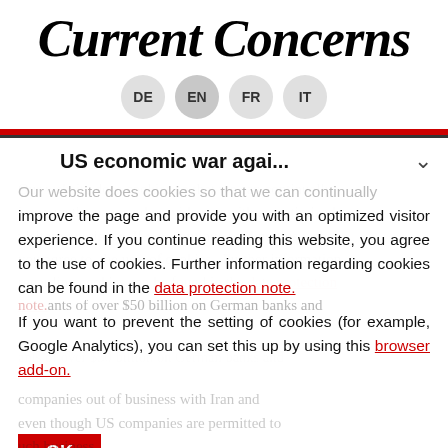Current Concerns
DE  EN  FR  IT
US economic war agai...
Our website does cookies so that we can continually improve the page and provide you with an optimized visitor experience. If you continue reading this website, you agree to the use of cookies. Further information regarding cookies can be found in the data protection note.
If you want to prevent the setting of cookies (for example, Google Analytics), you can set this up by using this browser add-on.
OK